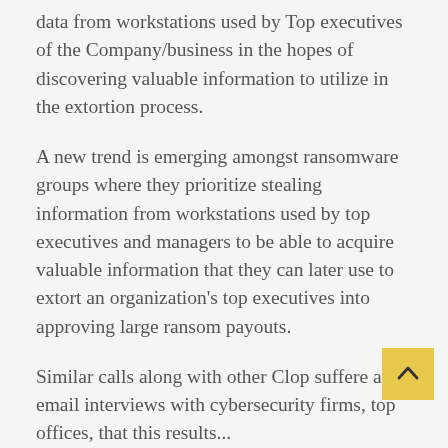data from workstations used by Top executives of the Company/business in the hopes of discovering valuable information to utilize in the extortion process.
A new trend is emerging amongst ransomware groups where they prioritize stealing information from workstations used by top executives and managers to be able to acquire valuable information that they can later use to extort an organization's top executives into approving large ransom payouts.
Similar calls along with other Clop suffere and email interviews with cybersecurity firms, top officers, that this results...